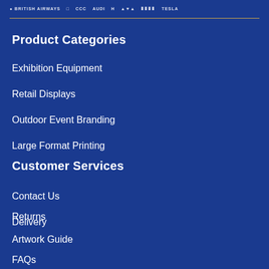[Figure (logo): Row of brand logos including British Airways, Audi, Tesla and others on dark blue background]
Product Categories
Exhibition Equipment
Retail Displays
Outdoor Event Branding
Large Format Printing
Customer Services
Contact Us
Delivery
Returns
Artwork Guide
FAQs